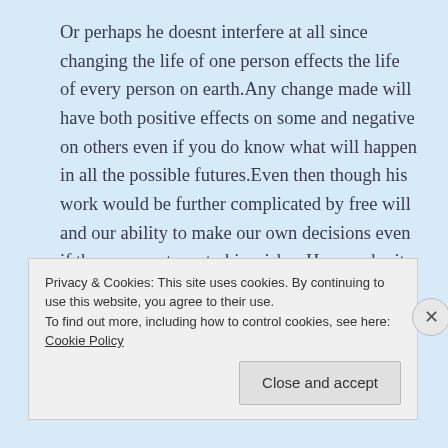Or perhaps he doesnt interfere at all since changing the life of one person effects the life of every person on earth.Any change made will have both positive effects on some and negative on others even if you do know what will happen in all the possible futures.Even then though his work would be further complicated by free will and our ability to make our own decisions even if they are contrary to his wishes.Hence why it is probably best that he doesnt interfere, mearly watch since the end result is the same in either
Privacy & Cookies: This site uses cookies. By continuing to use this website, you agree to their use.
To find out more, including how to control cookies, see here: Cookie Policy
Close and accept